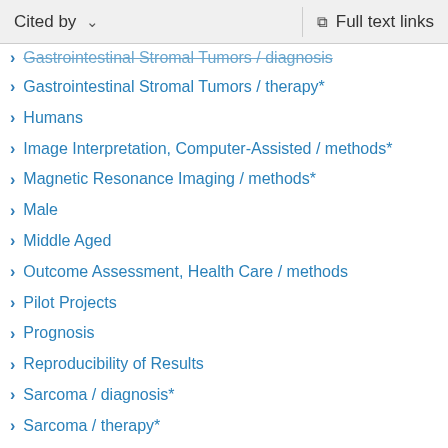Cited by   ∨   Full text links
Gastrointestinal Stromal Tumors / diagnosis
Gastrointestinal Stromal Tumors / therapy*
Humans
Image Interpretation, Computer-Assisted / methods*
Magnetic Resonance Imaging / methods*
Male
Middle Aged
Outcome Assessment, Health Care / methods
Pilot Projects
Prognosis
Reproducibility of Results
Sarcoma / diagnosis*
Sarcoma / therapy*
Sensitivity and Specificity
Statistics as Topic
Tomography, X-Ray Computed / methods*
Treatment Outcome
Young Adults